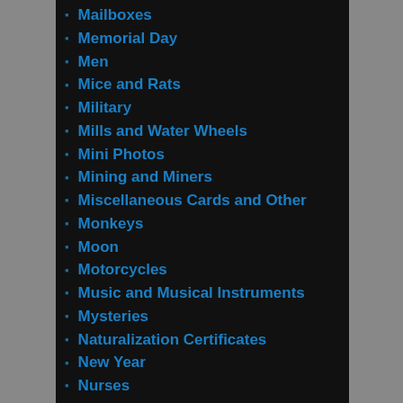Mailboxes
Memorial Day
Men
Mice and Rats
Military
Mills and Water Wheels
Mini Photos
Mining and Miners
Miscellaneous Cards and Other
Monkeys
Moon
Motorcycles
Music and Musical Instruments
Mysteries
Naturalization Certificates
New Year
Nurses
Old Photo Albums
Old Photos
Owls
Parades